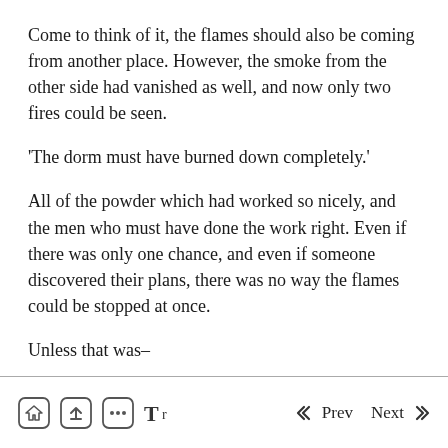Come to think of it, the flames should also be coming from another place. However, the smoke from the other side had vanished as well, and now only two fires could be seen.
'The dorm must have burned down completely.'
All of the powder which had worked so nicely, and the men who must have done the work right. Even if there was only one chance, and even if someone discovered their plans, there was no way the flames could be stopped at once.
Unless that was–
"A variable?"
Home  Prev  Next